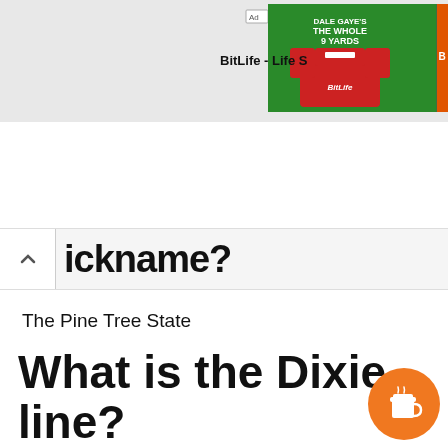[Figure (screenshot): Advertisement banner for BitLife - Life S game, showing a green football jersey panel labeled THE WHOLE 9 YARDS and an orange panel with BitLife logo and sperm icon]
ickname?
The Pine Tree State
What is the Dixie line?
Mason-Dixon Line also called Mason and Dixon Line originally the boundary between Maryland and Pennsylvania in the United States. In the pre-Civil War p it was regarded together with the Ohio R as the dividing line between slave states